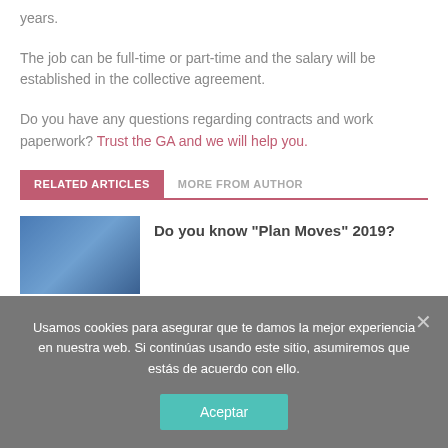years.
The job can be full-time or part-time and the salary will be established in the collective agreement.
Do you have any questions regarding contracts and work paperwork? Trust the GA and we will help you.
RELATED ARTICLES   MORE FROM AUTHOR
Do you know “Plan Moves” 2019?
Usamos cookies para asegurar que te damos la mejor experiencia en nuestra web. Si continúas usando este sitio, asumiremos que estás de acuerdo con ello.